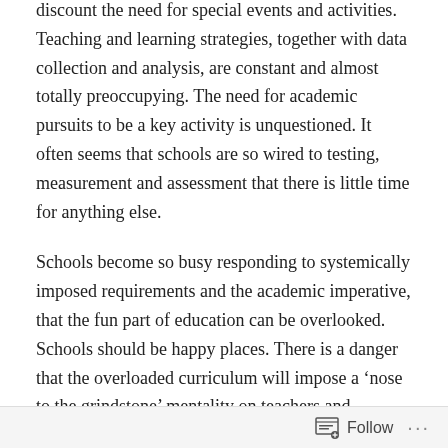discount the need for special events and activities. Teaching and learning strategies, together with data collection and analysis, are constant and almost totally preoccupying. The need for academic pursuits to be a key activity is unquestioned. It often seems that schools are so wired to testing, measurement and assessment that there is little time for anything else.
Schools become so busy responding to systemically imposed requirements and the academic imperative, that the fun part of education can be overlooked. Schools should be happy places. There is a danger that the overloaded curriculum will impose a ‘nose to the grindstone’ mentality on teachers and students alike. This is not helped by principals and school leaders feeling the
Follow ···